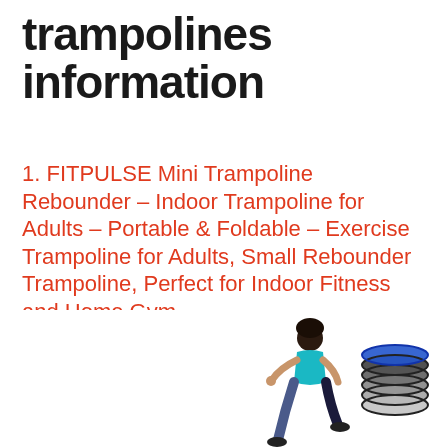trampolines information
1. FITPULSE Mini Trampoline Rebounder – Indoor Trampoline for Adults – Portable & Foldable – Exercise Trampoline for Adults, Small Rebounder Trampoline, Perfect for Indoor Fitness and Home Gym
[Figure (photo): Product photo showing a woman in athletic wear jumping/running pose and a set of round trampoline products with different colored surfaces arranged in a fan/stack]